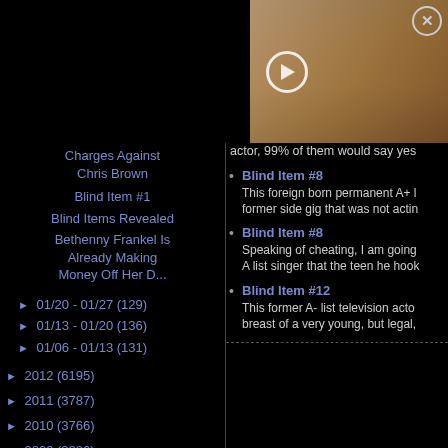[Figure (screenshot): Video thumbnail showing hands typing on a laptop with a coffee cup, with a play button overlay and a close button in top right]
Charges Against Chris Brown
Blind Item #1
Blind Items Revealed
Bethenny Frankel Is Already Making Money Off Her D...
► 01/20 - 01/27 (129)
► 01/13 - 01/20 (136)
► 01/06 - 01/13 (131)
► 2012 (6195)
► 2011 (3787)
► 2010 (3766)
► 2009 (3226)
actor, 99% of them would say yes
Blind Item #8 — This foreign born permanent A+ list former side gig that was not acting
Blind Item #8 — Speaking of cheating, I am going A list singer that the teen he hook
Blind Item #12 — This former A- list television actor breast of a very young, but legal,